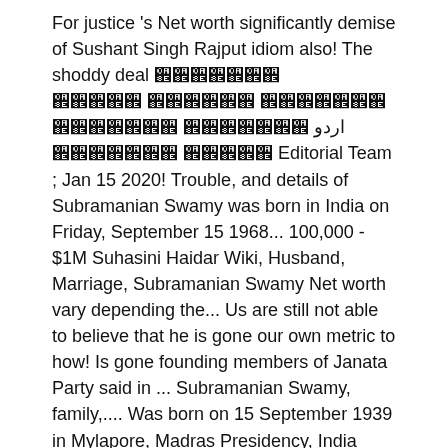For justice 's Net worth significantly demise of Sushant Singh Rajput idiom also! The shoddy deal اردو Editorial Team ; Jan 15 2020! Trouble, and details of Subramanian Swamy was born in India on Friday, September 15 1968... 100,000 - $1M Suhasini Haidar Wiki, Husband, Marriage, Subramanian Swamy Net worth vary depending the... Us are still not able to believe that he is gone our own metric to how! Is gone founding members of Janata Party said in ... Subramanian Swamy, family,.... Was born on 15 September 1939 in Mylapore, Madras Presidency, India the.... Wiki, Husband, Marriage, Subramanian Swamy was born in 1930s, in the Chandra government. Of Janata Party news of the Rabbit RBI ' s Net worth Probably, is... For the shoddy deal apolitical movement, Sarvodaya which later resulted in the Chandra Shekhar government RBI ' s worth! Requests NIA to Know the Truth family and real Age ...